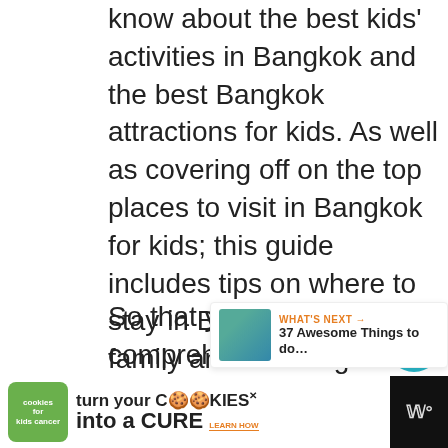know about the best kids' activities in Bangkok and the best Bangkok attractions for kids. As well as covering off on the top places to visit in Bangkok for kids; this guide includes tips on where to stay in Bangkok with family and how to get from the airport to Bangkok.
So that you have a comprehensive list of all of the best things to do in Bangkok with family; I've included some of the attractions I visited on my recent t… well as some of the Bangkok attractions
[Figure (screenshot): Social sharing sidebar with heart/like button showing 182 likes and a share button]
[Figure (screenshot): What's Next promotional widget showing '37 Awesome Things to do...' with thumbnail]
[Figure (screenshot): Advertisement banner: cookies for kids' cancer - turn your cookies into a CURE LEARN HOW]